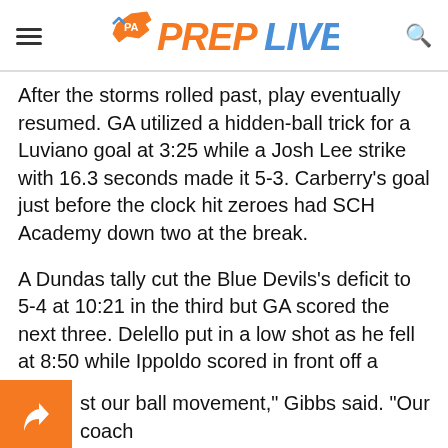PA PREPLIVE
After the storms rolled past, play eventually resumed. GA utilized a hidden-ball trick for a Luviano goal at 3:25 while a Josh Lee strike with 16.3 seconds made it 5-3. Carberry's goal just before the clock hit zeroes had SCH Academy down two at the break.
A Dundas tally cut the Blue Devils's deficit to 5-4 at 10:21 in the third but GA scored the next three. Delello put in a low shot as he fell at 8:50 while Ippoldo scored in front off a Luviano assist at 7:31. Delello struck again at 6:17, ripping a shot into the top of the net for an 8-4 lead.
st our ball movement," Gibbs said. "Our coach y McKinney always tells us to move off ball. And